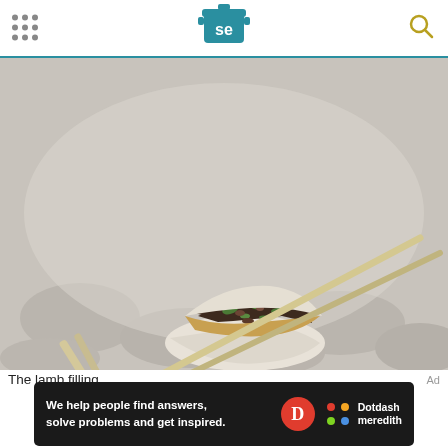Serious Eats - SE logo with navigation dots and search icon
[Figure (photo): Close-up photo of a dumpling being held open by chopsticks, revealing a lamb filling with green herbs, with more dumplings blurred in the background.]
The lamb filling.
[Figure (other): Advertisement banner: We help people find answers, solve problems and get inspired. Dotdash Meredith logo.]